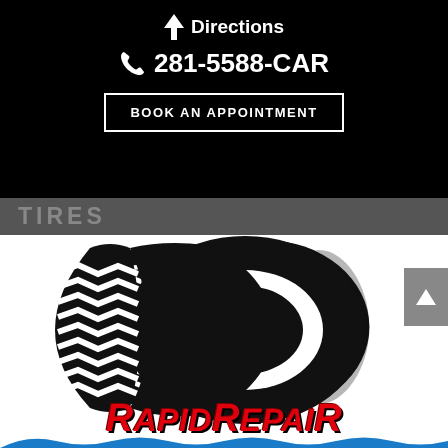Directions  281-5588-CAR  BOOK AN APPOINTMENT
TIRES
[Figure (illustration): Black and white clipart illustration of a tire with tread pattern on the left side and a circular ring shape on the right]
RapidRepair